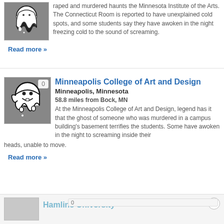raped and murdered haunts the Minnesota Institute of the Arts. The Connecticut Room is reported to have unexplained cold spots, and some students say they have awoken in the night freezing cold to the sound of screaming.
Read more »
Minneapolis College of Art and Design
Minneapolis, Minnesota
58.8 miles from Bock, MN
At the Minneapolis College of Art and Design, legend has it that the ghost of someone who was murdered in a campus building's basement terrifies the students. Some have awoken in the night to screaming inside their heads, unable to move.
Read more »
Hamline University